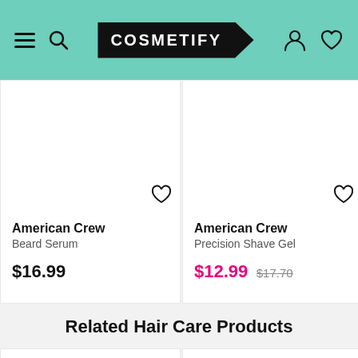COSMETIFY
American Crew
Beard Serum
$16.99
American Crew
Precision Shave Gel
$12.99 $17.70
Related Hair Care Products